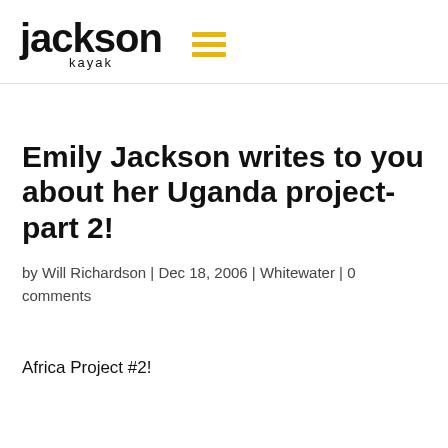Jackson Kayak
Emily Jackson writes to you about her Uganda project- part 2!
by Will Richardson | Dec 18, 2006 | Whitewater | 0 comments
Africa Project #2!